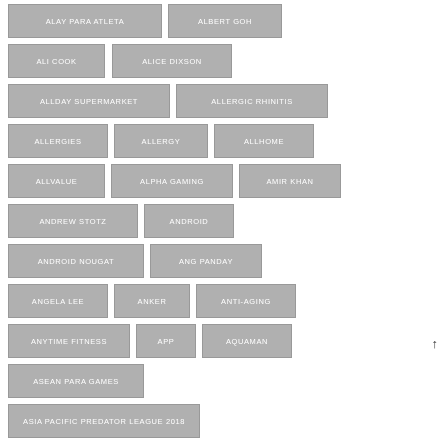ALAY PARA ATLETA
ALBERT GOH
ALI COOK
ALICE DIXSON
ALLDAY SUPERMARKET
ALLERGIC RHINITIS
ALLERGIES
ALLERGY
ALLHOME
ALLVALUE
ALPHA GAMING
AMIR KHAN
ANDREW STOTZ
ANDROID
ANDROID NOUGAT
ANG PANDAY
ANGELA LEE
ANKER
ANTI-AGING
ANYTIME FITNESS
APP
AQUAMAN
ASEAN PARA GAMES
ASIA PACIFIC PREDATOR LEAGUE 2018